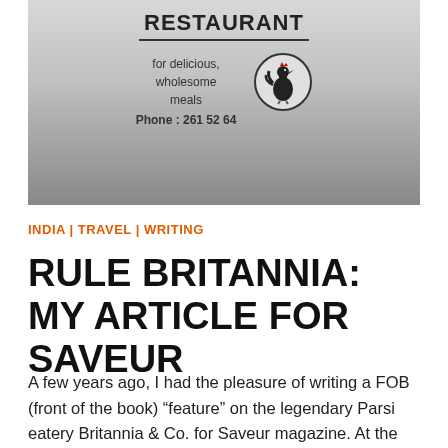[Figure (photo): Photo of a Britannia Restaurant takeaway container/tin lid showing the restaurant name, tagline 'for delicious, wholesome meals', phone number '261 52 64', and a rooster logo in a circle]
INDIA | TRAVEL | WRITING
RULE BRITANNIA: MY ARTICLE FOR SAVEUR
A few years ago, I had the pleasure of writing a FOB (front of the book) “feature” on the legendary Parsi eatery Britannia & Co. for Saveur magazine. At the time, I was living in Bombay, India, and had